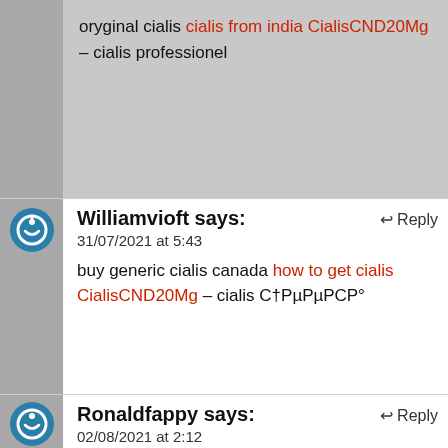oryginal cialis cialis from india CialisCND20Mg – cialis professionel
Williamvioft says:
31/07/2021 at 5:43
buy generic cialis canada how to get cialis CialisCND20Mg – cialis С†РµРСР°
Ronaldfappy says:
02/08/2021 at 2:12
viagra cheap and fast delivery over the counter viagra walgreens ViagraCND100Mg – viagra sold cheap
Ronaldfappy says: